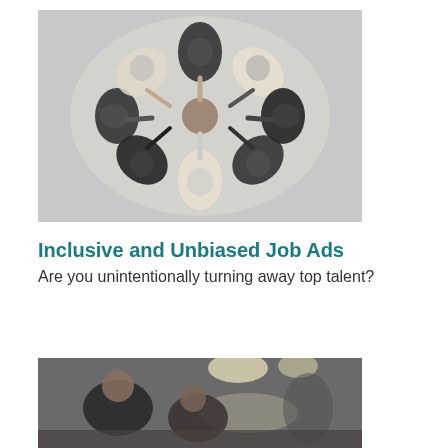[Figure (photo): Overhead aerial view in black and white of a group of people standing in a circle with arms/hands reaching into the center, viewed from above, on a wooden floor background.]
Inclusive and Unbiased Job Ads
Are you unintentionally turning away top talent?
[Figure (photo): Black and white photo of people in an office or event space, partially cropped, showing two or more people leaning over something with overhead lighting visible.]